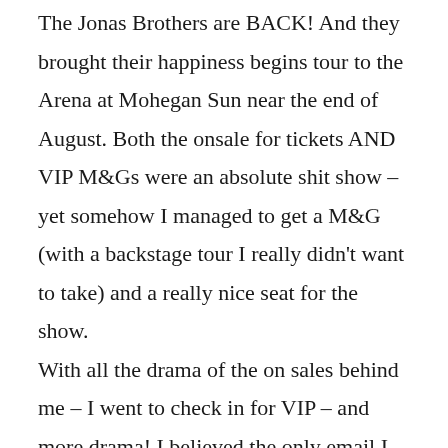The Jonas Brothers are BACK! And they brought their happiness begins tour to the Arena at Mohegan Sun near the end of August. Both the onsale for tickets AND VIP M&Gs were an absolute shit show – yet somehow I managed to get a M&G (with a backstage tour I really didn't want to take) and a really nice seat for the show. With all the drama of the on sales behind me – I went to check in for VIP – and more drama! I believed the only email I had received from the VIP company was the receipt. But apparently I had also received and didn't save (so unlike me, but whatever) another email with a confirmation code. The woman was